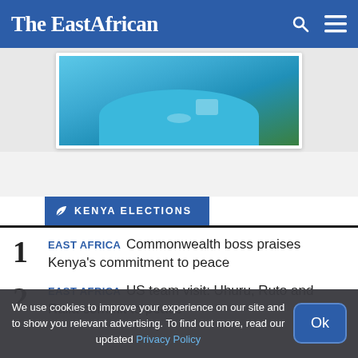The EastAfrican
[Figure (photo): Partial photo of a person in a blue polo shirt, cropped at chest level showing a logo on the shirt.]
KENYA ELECTIONS
EAST AFRICA Commonwealth boss praises Kenya's commitment to peace
EAST AFRICA US team visit: Uhuru, Ruto and Raila commit to peace
We use cookies to improve your experience on our site and to show you relevant advertising. To find out more, read our updated Privacy Policy